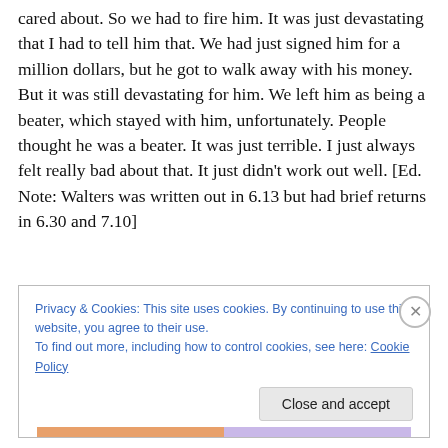cared about. So we had to fire him. It was just devastating that I had to tell him that. We had just signed him for a million dollars, but he got to walk away with his money. But it was still devastating for him. We left him as being a beater, which stayed with him, unfortunately. People thought he was a beater. It was just terrible. I just always felt really bad about that. It just didn't work out well. [Ed. Note: Walters was written out in 6.13 but had brief returns in 6.30 and 7.10]
Privacy & Cookies: This site uses cookies. By continuing to use this website, you agree to their use.
To find out more, including how to control cookies, see here: Cookie Policy